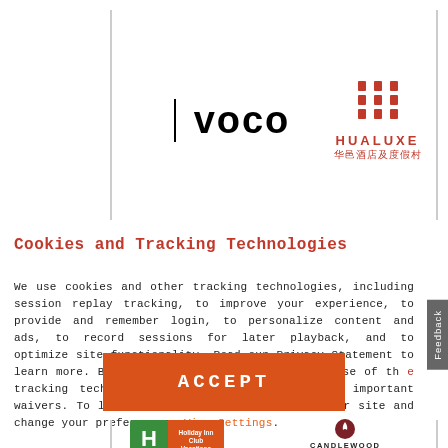[Figure (logo): VOCO hotel brand logo in large bold black text]
[Figure (logo): HUALUXE hotel brand logo with red Chinese-style icon above, red capital letters HUALUXE, and Chinese characters below]
Cookies and Tracking Technologies
We use cookies and other tracking technologies, including session replay tracking, to improve your experience, to provide and remember login, to personalize content and ads, to record sessions for later playback, and to optimize site functionality. Read our Privacy Statement to learn more. By continuing, you consent to our use of the tracking technologies and our Terms including important waivers. To learn more about the trackers on our site and change your preferences, View Settings.
[Figure (other): Orange ACCEPT button]
[Figure (logo): Holiday Inn Club Vacations logo — green box with H and orange box with text]
[Figure (logo): Candlewood Suites logo with dark red flame icon above text CANDLEWOOD]